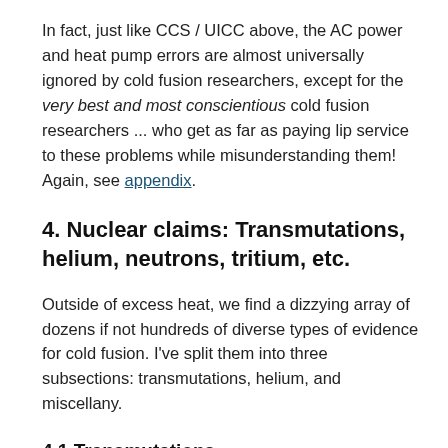In fact, just like CCS / UICC above, the AC power and heat pump errors are almost universally ignored by cold fusion researchers, except for the very best and most conscientious cold fusion researchers ... who get as far as paying lip service to these problems while misunderstanding them! Again, see appendix.
4. Nuclear claims: Transmutations, helium, neutrons, tritium, etc.
Outside of excess heat, we find a dizzying array of dozens if not hundreds of diverse types of evidence for cold fusion. I've split them into three subsections: transmutations, helium, and miscellany.
4.1 Transmutations
A major category of cold fusion claims involve